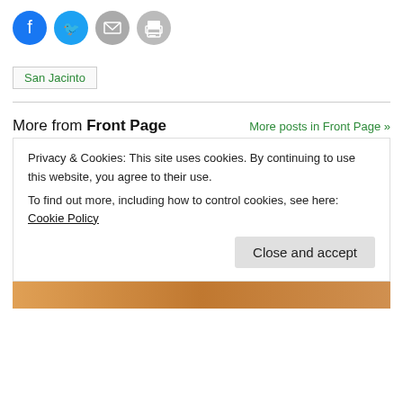[Figure (other): Social share buttons: Facebook (blue circle), Twitter (blue circle), Email (gray circle), Print (gray circle)]
San Jacinto
More from Front Page  More posts in Front Page »
[Figure (photo): A blurred group photo of many people in white clothing, gathered together, standing in front of a building]
Privacy & Cookies: This site uses cookies. By continuing to use this website, you agree to their use.
To find out more, including how to control cookies, see here: Cookie Policy
Close and accept